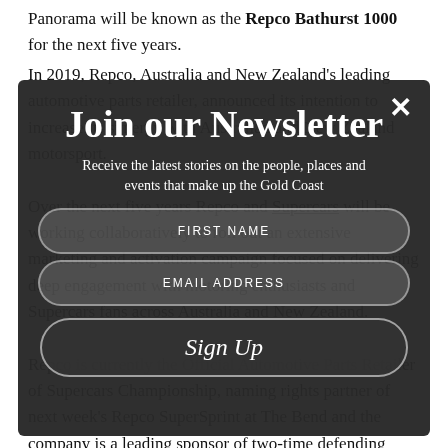Panorama will be known as the Repco Bathurst 1000 for the next five years.
[Figure (screenshot): Newsletter signup modal overlay on dark background with title 'Join our Newsletter', subtitle 'Receive the latest stories on the people, places and events that make up the Gold Coast', input fields for FIRST NAME and EMAIL ADDRESS, and a Sign Up button. A close (X) button is in the top right corner.]
In 2019, Repco, Australia and New Zealand's leading automotive parts retailer, announced its intention to increase its synergy with Australian and New Zealand motorsport.
Over the next five years Repco and Supercars will be working collaboratively to roll out an extensive marketing and activation campaign focused on delivering deep engagement with motoring enthusiasts and Supercars fans across Australia and New Zealand.
Repco is currently the Official Automotive Parts Retailer of Supercars Championship, naming rights partner of next week's Repco SuperSprint at The Bend and the company is a leading sponsor of two-time defending Champion Scott McLaughlin and